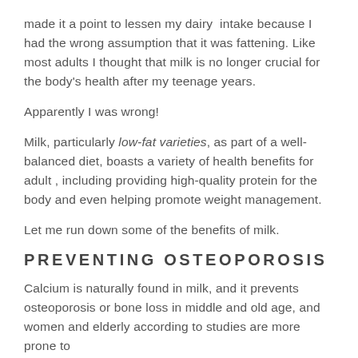made it a point to lessen my dairy intake because I had the wrong assumption that it was fattening. Like most adults I thought that milk is no longer crucial for the body's health after my teenage years.
Apparently I was wrong!
Milk, particularly low-fat varieties, as part of a well-balanced diet, boasts a variety of health benefits for adult , including providing high-quality protein for the body and even helping promote weight management.
Let me run down some of the benefits of milk.
PREVENTING OSTEOPOROSIS
Calcium is naturally found in milk, and it prevents osteoporosis or bone loss in middle and old age, and women and elderly according to studies are more prone to